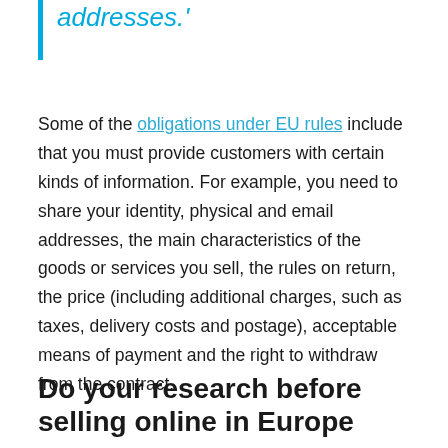addresses.'
Some of the obligations under EU rules include that you must provide customers with certain kinds of information. For example, you need to share your identity, physical and email addresses, the main characteristics of the goods or services you sell, the rules on return, the price (including additional charges, such as taxes, delivery costs and postage), acceptable means of payment and the right to withdraw from the contract.
Do your research before selling online in Europe